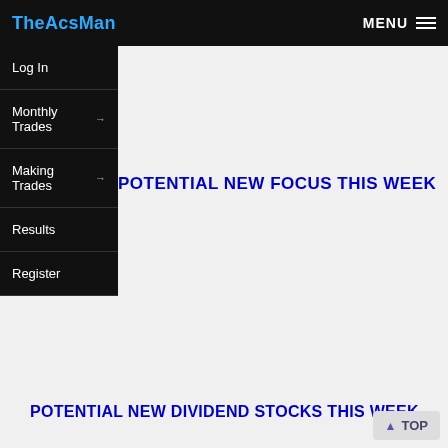TheAcsMan  MENU
Log In
Monthly Trades →
Making Trades →
Results
Register
POTENTIAL NEW FOCUS THIS WEEK
POTENTIAL NEW DIVIDEND STOCKS THIS WEEK